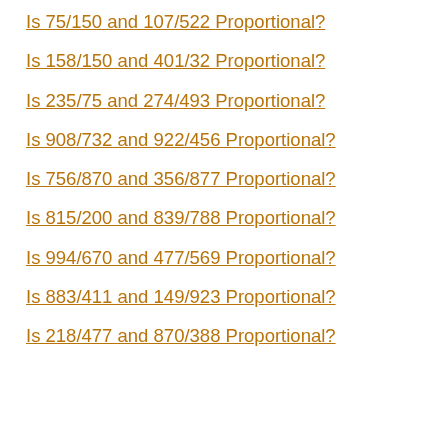Is 75/150 and 107/522 Proportional?
Is 158/150 and 401/32 Proportional?
Is 235/75 and 274/493 Proportional?
Is 908/732 and 922/456 Proportional?
Is 756/870 and 356/877 Proportional?
Is 815/200 and 839/788 Proportional?
Is 994/670 and 477/569 Proportional?
Is 883/411 and 149/923 Proportional?
Is 218/477 and 870/388 Proportional?